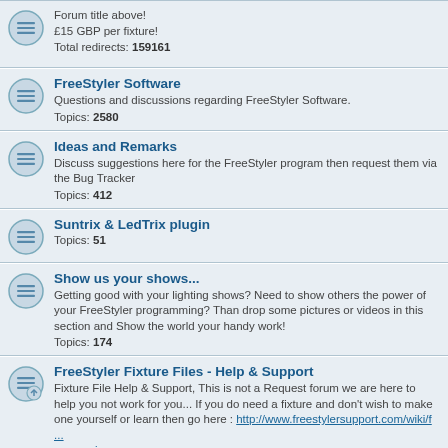Forum title above!
£15 GBP per fixture!
Total redirects: 159161
FreeStyler Software
Questions and discussions regarding FreeStyler Software.
Topics: 2580
Ideas and Remarks
Discuss suggestions here for the FreeStyler program then request them via the Bug Tracker
Topics: 412
Suntrix & LedTrix plugin
Topics: 51
Show us your shows...
Getting good with your lighting shows? Need to show others the power of your FreeStyler programming? Than drop some pictures or videos in this section and Show the world your handy work!
Topics: 174
FreeStyler Fixture Files - Help & Support
Fixture File Help & Support, This is not a Request forum we are here to help you not work for you... If you do need a fixture and don't wish to make one yourself or learn then go here : http://www.freestylersupport.com/wiki/f ... on_service
Subforums: Prowalls, U'King, BeamZ
Topics: 2615
Bezier Shapes
Share your shape files and discuss this feature here!
Topics: 3